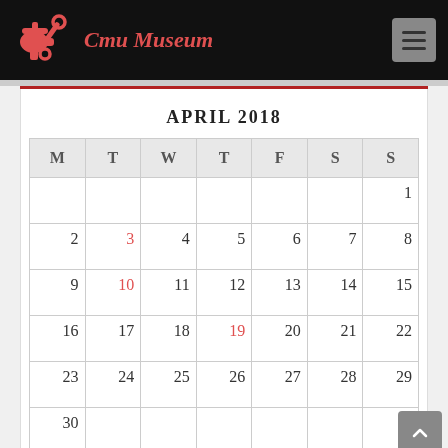Cmu Museum
APRIL 2018
| M | T | W | T | F | S | S |
| --- | --- | --- | --- | --- | --- | --- |
|  |  |  |  |  |  | 1 |
| 2 | 3 | 4 | 5 | 6 | 7 | 8 |
| 9 | 10 | 11 | 12 | 13 | 14 | 15 |
| 16 | 17 | 18 | 19 | 20 | 21 | 22 |
| 23 | 24 | 25 | 26 | 27 | 28 | 29 |
| 30 |  |  |  |  |  |  |